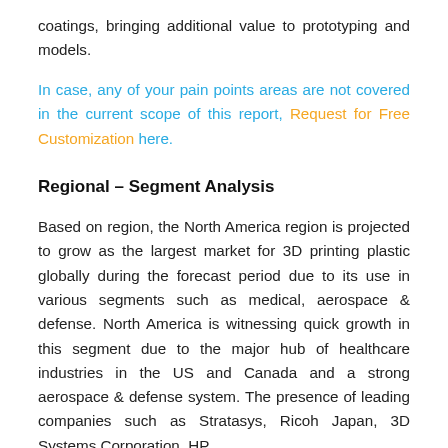coatings, bringing additional value to prototyping and models.
In case, any of your pain points areas are not covered in the current scope of this report, Request for Free Customization here.
Regional – Segment Analysis
Based on region, the North America region is projected to grow as the largest market for 3D printing plastic globally during the forecast period due to its use in various segments such as medical, aerospace & defense. North America is witnessing quick growth in this segment due to the major hub of healthcare industries in the US and Canada and a strong aerospace & defense system. The presence of leading companies such as Stratasys, Ricoh Japan, 3D Systems Corporation, HP...